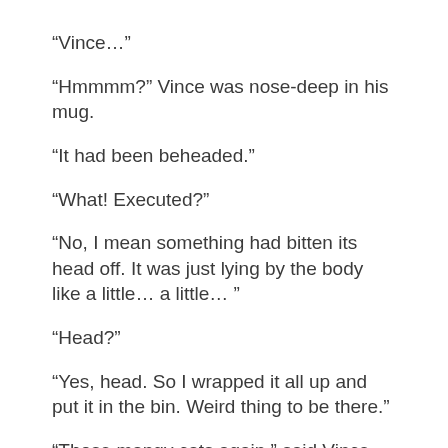“Vince…”
“Hmmmm?” Vince was nose-deep in his mug.
“It had been beheaded.”
“What! Executed?”
“No, I mean something had bitten its head off. It was just lying by the body like a little… a little… ”
“Head?”
“Yes, head. So I wrapped it all up and put it in the bin. Weird thing to be there.”
“Those mangy cats again,” said Vince. But he was